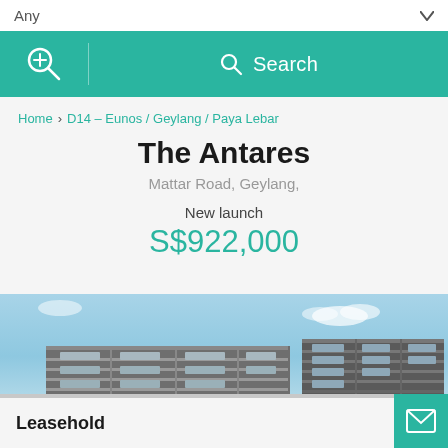Any
Search
Home > D14 – Eunos / Geylang / Paya Lebar
The Antares
Mattar Road, Geylang,
New launch
S$922,000
[Figure (photo): Exterior rendering of The Antares condominium buildings against blue sky]
Leasehold